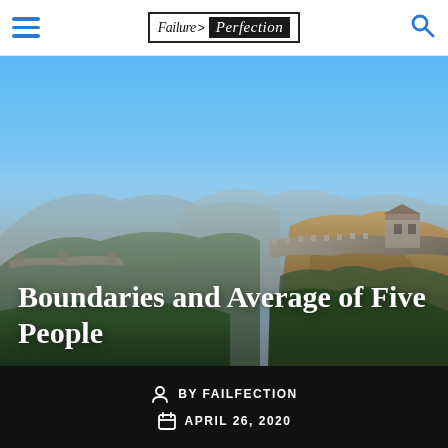Failure > Perfection
[Figure (photo): Aerial panoramic photo of the Great Wall of China winding through green forested mountains with rocky cliffs and hazy blue sky]
Boundaries and Average of Five People
BY FAILFECTION
APRIL 26, 2020